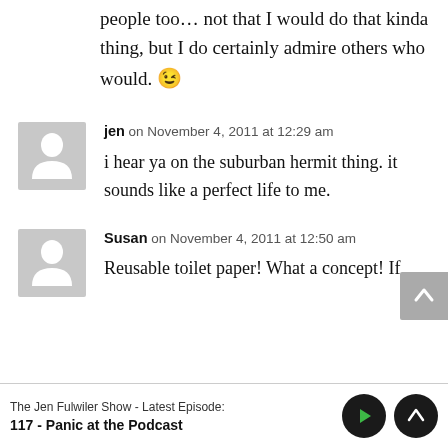people too… not that I would do that kinda thing, but I do certainly admire others who would. 😉
jen on November 4, 2011 at 12:29 am
i hear ya on the suburban hermit thing. it sounds like a perfect life to me.
Susan on November 4, 2011 at 12:50 am
Reusable toilet paper! What a concept! If
The Jen Fulwiler Show - Latest Episode:
117 - Panic at the Podcast